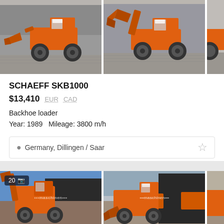[Figure (photo): Orange SCHAEFF SKB1000 backhoe loader viewed from the side, parked on a cobblestone surface in front of a grey corrugated metal building]
[Figure (photo): Orange SCHAEFF SKB1000 backhoe loader with bucket raised, parked on a cobblestone surface]
SCHAEFF SKB1000
$13,410  EUR  CAD
Backhoe loader
Year: 1989   Mileage: 3800 m/h
Germany, Dillingen / Saar
[Figure (photo): Orange wheeled loader machine, front view with bucket raised, parked outdoors near a dark building, 20 photos badge shown]
[Figure (photo): Orange wheeled loader with bucket at ground level, parked in a yard with other orange construction equipment in the background]